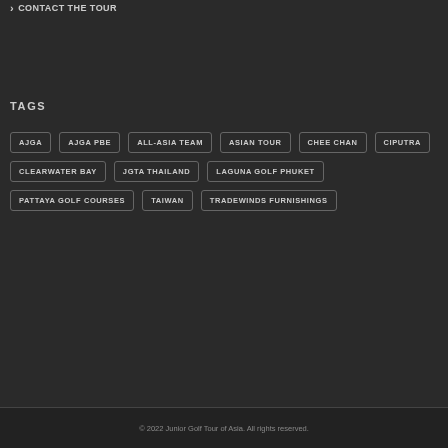CONTACT THE TOUR
TAGS
AJGA
AJGA PBE
ALL-ASIA TEAM
ASIAN TOUR
CHEE CHAN
CIPUTRA
CLEARWATER BAY
JGTA THAILAND
LAGUNA GOLF PHUKET
PATTAYA GOLF COURSES
TAIWAN
TRADEWINDS FURNISHINGS
© 2022 Junior Golf Tour of Asia. All rights reserved.